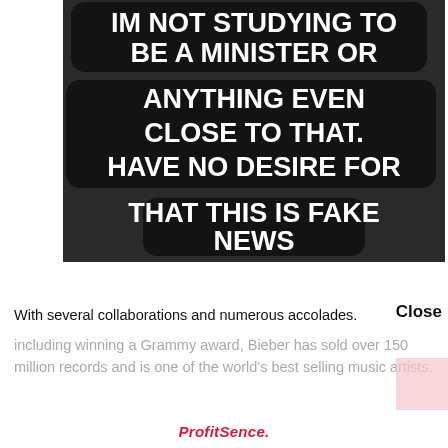[Figure (screenshot): Screenshot of a social media post with bold white text on black/dark background reading: IM NOT STUDYING TO BE A MINISTER OR ANYTHING EVEN CLOSE TO THAT. HAVE NO DESIRE FOR THAT THIS IS FAKE NEWS]
With several collaborations and numerous accolades.
including winning a Grammy award, Bieber has sold over 150 million records and is one of the world's best selling music artists.
ProfitSence.